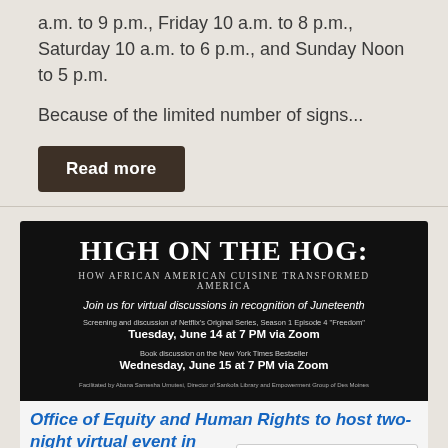a.m. to 9 p.m., Friday 10 a.m. to 8 p.m., Saturday 10 a.m. to 6 p.m., and Sunday Noon to 5 p.m.
Because of the limited number of signs...
Read more
[Figure (infographic): Event promotional graphic for 'High on the Hog: How African American Cuisine Transformed America' with dark background showing hands holding vegetables. Text describes virtual discussions for Juneteenth: Tuesday June 14 at 7 PM via Zoom (Netflix screening) and Wednesday June 15 at 7 PM via Zoom (book discussion).]
Office of Equity and Human Rights to host two-night virtual event in honor of Juneteenth